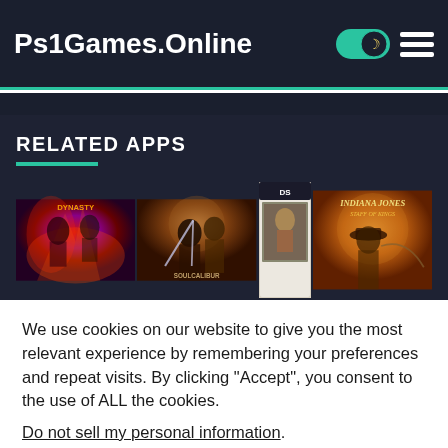Ps1Games.Online
RELATED APPS
[Figure (screenshot): Three game cover art images side by side: a Dynasty Warriors-style game with red/purple art, a Soulcalibur-style game with warriors, a Nintendo DS box and Indiana Jones game cover]
We use cookies on our website to give you the most relevant experience by remembering your preferences and repeat visits. By clicking “Accept”, you consent to the use of ALL the cookies.
Do not sell my personal information.
Cookie settings   ACCEPT